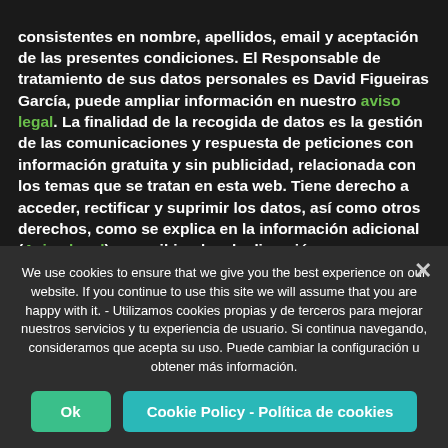consistentes en nombre, apellidos, email y aceptación de las presentes condiciones. El Responsable de tratamiento de sus datos personales es David Figueiras García, puede ampliar información en nuestro aviso legal. La finalidad de la recogida de datos es la gestión de las comunicaciones y respuesta de peticiones con información gratuita y sin publicidad, relacionada con los temas que se tratan en esta web. Tiene derecho a acceder, rectificar y suprimir los datos, así como otros derechos, como se explica en la información adicional (Aviso legal) o escribiendo a la dirección info@thetoonplanet.com. Puede consultar información adicional...
We use cookies to ensure that we give you the best experience on our website. If you continue to use this site we will assume that you are happy with it. - Utilizamos cookies propias y de terceros para mejorar nuestros servicios y tu experiencia de usuario. Si continua navegando, consideramos que acepta su uso. Puede cambiar la configuración u obtener más información.
Ok
Cookie Policy - Política de cookies